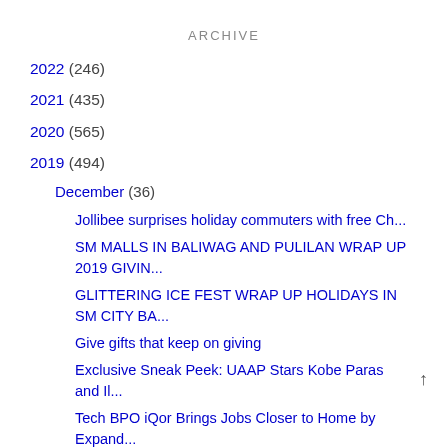ARCHIVE
2022 (246)
2021 (435)
2020 (565)
2019 (494)
December (36)
Jollibee surprises holiday commuters with free Ch...
SM MALLS IN BALIWAG AND PULILAN WRAP UP 2019 GIVIN...
GLITTERING ICE FEST WRAP UP HOLIDAYS IN SM CITY BA...
Give gifts that keep on giving
Exclusive Sneak Peek: UAAP Stars Kobe Paras and Il...
Tech BPO iQor Brings Jobs Closer to Home by Expand...
Celebrate Christmas with family and Filipino favor...